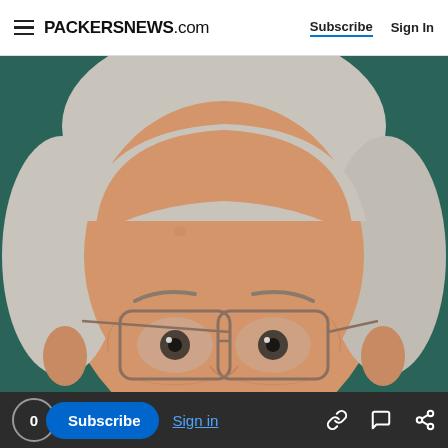PACKERSNEWS.com | Subscribe | Sign In
[Figure (photo): Close-up headshot of an elderly man with white/gray hair and wire-rimmed rectangular glasses against a dark teal/green background. The photo is cropped to show the top of his head through just below his glasses.]
0  Subscribe  Sign in